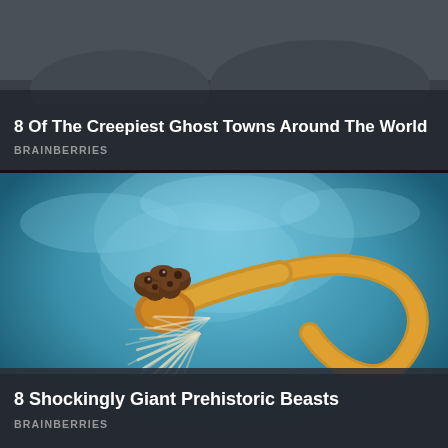[Figure (photo): Dark background card showing ghost town imagery with dark grayish overlay]
8 Of The Creepiest Ghost Towns Around The World
BRAINBERRIES
[Figure (illustration): Digital illustration of a prehistoric creature resembling an anomalocaris swimming in blue-lit underwater environment, with fan-like appendages and curved tail with mushroom-like protrusions on its head]
8 Shockingly Giant Prehistoric Beasts
BRAINBERRIES
[Figure (photo): Partial view of what appears to be a bathroom sink with chrome faucet on the left, and the back of a person's shaved head on the right, against a tiled background]